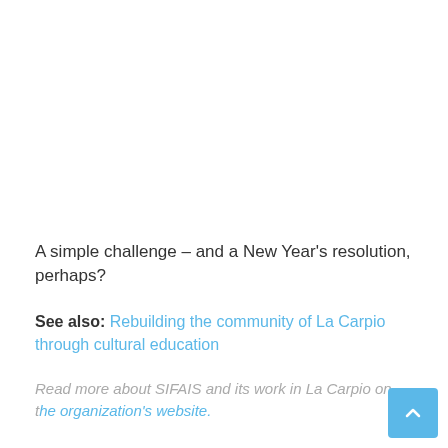A simple challenge – and a New Year's resolution, perhaps?
See also: Rebuilding the community of La Carpio through cultural education
Read more about SIFAIS and its work in La Carpio on the organization's website.